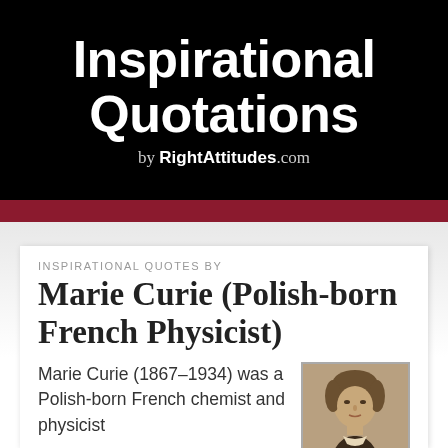Inspirational Quotations by RightAttitudes.com
INSPIRATIONAL QUOTES BY
Marie Curie (Polish-born French Physicist)
Marie Curie (1867–1934) was a Polish-born French chemist and physicist
[Figure (photo): Black and white portrait photograph of Marie Curie]